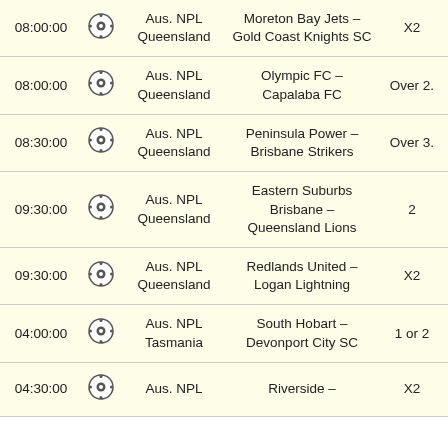| Time |  | League | Match | Odds |
| --- | --- | --- | --- | --- |
| 08:00:00 | ⚽ | Aus. NPL Queensland | Moreton Bay Jets – Gold Coast Knights SC | X2 |
| 08:00:00 | ⚽ | Aus. NPL Queensland | Olympic FC – Capalaba FC | Over 2. |
| 08:30:00 | ⚽ | Aus. NPL Queensland | Peninsula Power – Brisbane Strikers | Over 3. |
| 09:30:00 | ⚽ | Aus. NPL Queensland | Eastern Suburbs Brisbane – Queensland Lions | 2 |
| 09:30:00 | ⚽ | Aus. NPL Queensland | Redlands United – Logan Lightning | X2 |
| 04:00:00 | ⚽ | Aus. NPL Tasmania | South Hobart – Devonport City SC | 1 or 2 |
| 04:30:00 | ⚽ | Aus. NPL | Riverside – | X2 |